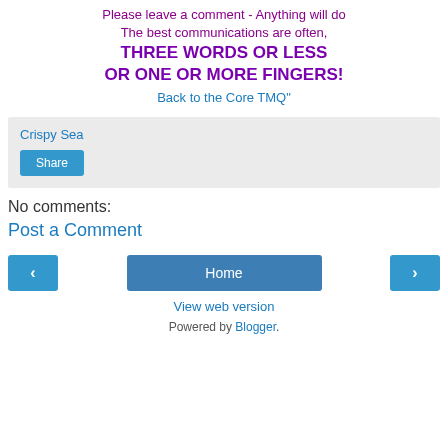Please leave a comment - Anything will do
The best communications are often,
THREE WORDS OR LESS
OR ONE OR MORE FINGERS!
Back to the Core TMQ"
Crispy Sea
Share
No comments:
Post a Comment
< Home >
View web version
Powered by Blogger.